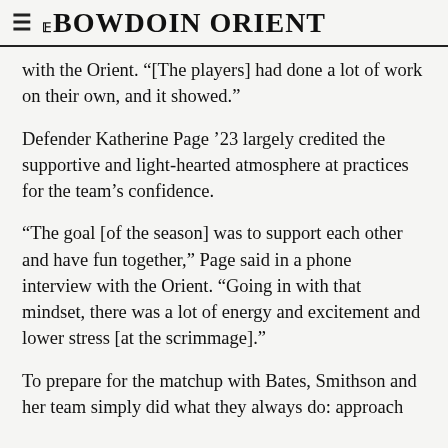THE BOWDOIN ORIENT
with the Orient. “[The players] had done a lot of work on their own, and it showed.”
Defender Katherine Page ’23 largely credited the supportive and light-hearted atmosphere at practices for the team’s confidence.
“The goal [of the season] was to support each other and have fun together,” Page said in a phone interview with the Orient. “Going in with that mindset, there was a lot of energy and excitement and lower stress [at the scrimmage].”
To prepare for the matchup with Bates, Smithson and her team simply did what they always do: approach